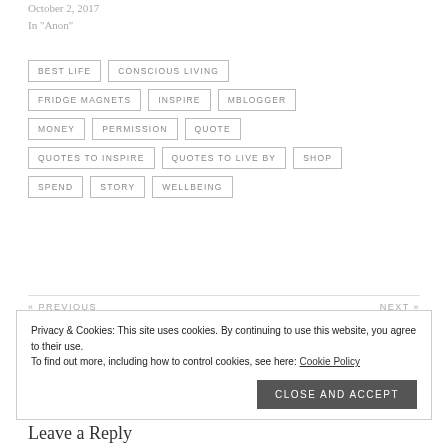October 2, 2017
In "Anon"
BEST LIFE
CONSCIOUS LIVING
FRIDGE MAGNETS
INSPIRE
MBLOGGER
MONEY
PERMISSION
QUOTE
QUOTES TO INSPIRE
QUOTES TO LIVE BY
SHOP
SPEND
STORY
WELLBEING
« PREVIOUS
NEXT »
Privacy & Cookies: This site uses cookies. By continuing to use this website, you agree to their use.
To find out more, including how to control cookies, see here: Cookie Policy
Close and accept
Leave a Reply